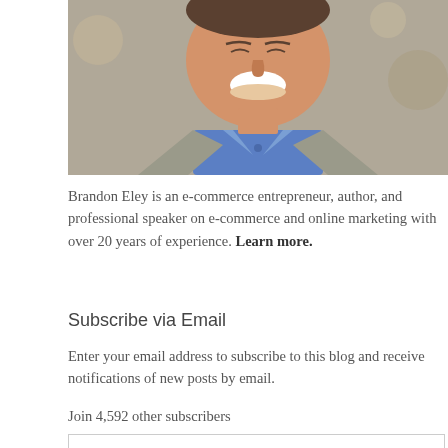[Figure (photo): Portrait photo of a smiling man in a grey blazer and blue shirt, cropped to show face and upper chest.]
Brandon Eley is an e-commerce entrepreneur, author, and professional speaker on e-commerce and online marketing with over 20 years of experience. Learn more.
Subscribe via Email
Enter your email address to subscribe to this blog and receive notifications of new posts by email.
Join 4,592 other subscribers